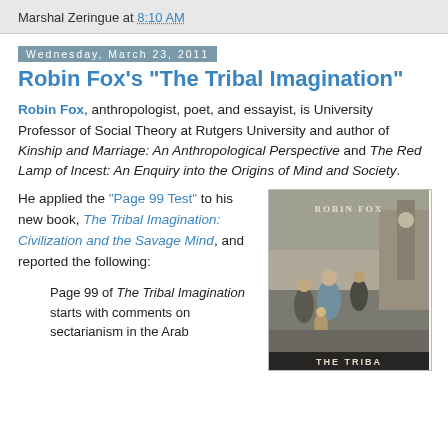Marshal Zeringue at 8:10 AM
Wednesday, March 23, 2011
Robin Fox's "The Tribal Imagination"
Robin Fox, anthropologist, poet, and essayist, is University Professor of Social Theory at Rutgers University and author of Kinship and Marriage: An Anthropological Perspective and The Red Lamp of Incest: An Enquiry into the Origins of Mind and Society.
He applied the “Page 99 Test” to his new book, The Tribal Imagination: Civilization and the Savage Mind, and reported the following:
[Figure (photo): Book cover of The Tribal Imagination by Robin Fox, showing a street scene with people]
Page 99 of The Tribal Imagination starts with comments on sectarianism in the Arab